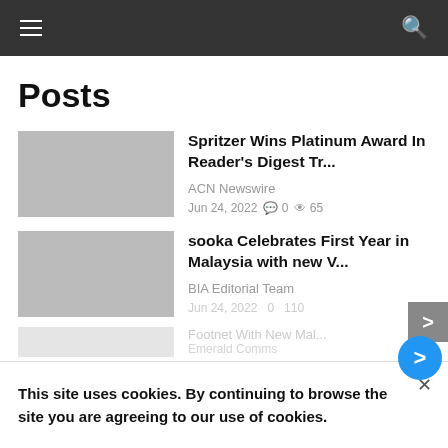Navigation bar with hamburger menu and search icon
Posts
Spritzer Wins Platinum Award In Reader's Digest Tr...
ACN Newswire
Jun 24, 2022  0  65
sooka Celebrates First Year in Malaysia with new V...
BIA Editorial Team
Jun 24, 2022  0  110
Footnet With New Mal...
Emerald Comms
This site uses cookies. By continuing to browse the site you are agreeing to our use of cookies.